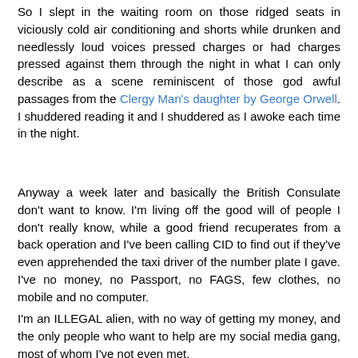So I slept in the waiting room on those ridged seats in viciously cold air conditioning and shorts while drunken and needlessly loud voices pressed charges or had charges pressed against them through the night in what I can only describe as a scene reminiscent of those god awful passages from the Clergy Man's daughter by George Orwell. I shuddered reading it and I shuddered as I awoke each time in the night.
Anyway a week later and basically the British Consulate don't want to know. I'm living off the good will of people I don't really know, while a good friend recuperates from a back operation and I've been calling CID to find out if they've even apprehended the taxi driver of the number plate I gave. I've no money, no Passport, no FAGS, few clothes, no mobile and no computer.
I'm an ILLEGAL alien, with no way of getting my money, and the only people who want to help are my social media gang, most of whom I've not even met.